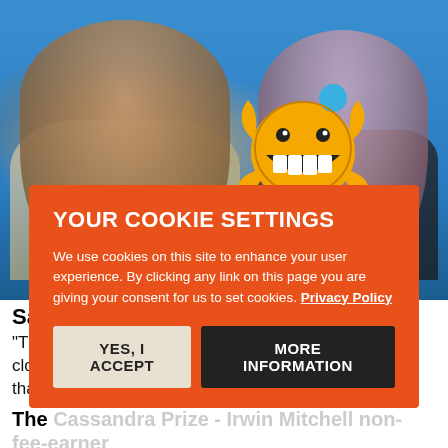[Figure (photo): Two heavily tattooed people sitting on a TV show set with blue background. Left person is a heavyset man with full body tattoos wearing a floral shirt. Right person is a woman with pink hair and tattoos wearing black. A Mr. Happy cartoon character is overlaid on the right side.]
Sadd
"The ... an close ... d that
The Cassandra Prize - Irwin Mitchell non-fee-earner
"They twice tried to back out of the terms of my contract and avoid [giving me a rise]. Firstly because they didn't believe me and 'couldn't find that part of my contract' (I ended up having to show them). They then blamed a lack of budget. Can't say I wasn't
YOUR COOKIE SETTINGS
We use cookies on this site to enhance your user experience. By clicking any link on this page you are giving your consent for us to set cookies. Privacy Policy
YES, I ACCEPT
MORE INFORMATION